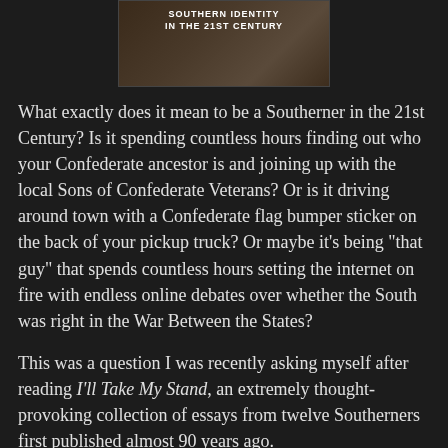[Figure (photo): Book cover image showing 'Southern Identity in the 21st Century' with a photograph of people in a field]
What exactly does it mean to be a Southerner in the 21st Century? Is it spending countless hours finding out who your Confederate ancestor is and joining up with the local Sons of Confederate Veterans? Or is it driving around town with a Confederate flag bumper sticker on the back of your pickup truck? Or maybe it’s being “that guy” that spends countless hours setting the internet on fire with endless online debates over whether the South was right in the War Between the States?
This was a question I was recently asking myself after reading I'll Take My Stand, an extremely thought-provoking collection of essays from twelve Southerners first published almost 90 years ago.
More @ The Abbeville Institute
Brock Townsend at Monday, May 14, 2018   2 comments: